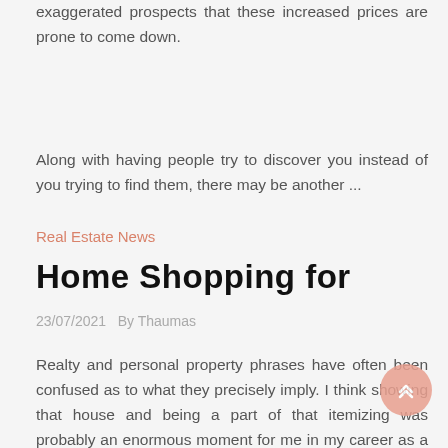exaggerated prospects that these increased prices are prone to come down.
Along with having people try to discover you instead of you trying to find them, there may be another ...
Real Estate News
Home Shopping for
23/07/2021   By Thaumas
Realty and personal property phrases have often been confused as to what they precisely imply. I think showing that house and being a part of that itemizing was probably an enormous moment for me in my career as a result of the folks that love John